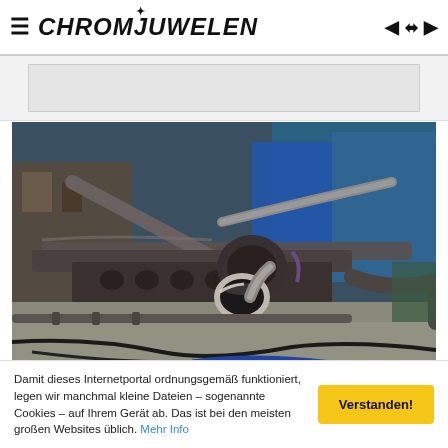CHROMJUWELEN
[Figure (photo): Workshop photo showing a disassembled vehicle chassis/frame with metal tubes and suspension components laid out on a garage floor. A chrome/metal cylindrical fitting is visible in the foreground. Various tools and equipment visible in the background.]
Damit dieses Internetportal ordnungsgemäß funktioniert, legen wir manchmal kleine Dateien – sogenannte Cookies – auf Ihrem Gerät ab. Das ist bei den meisten großen Websites üblich. Mehr Info